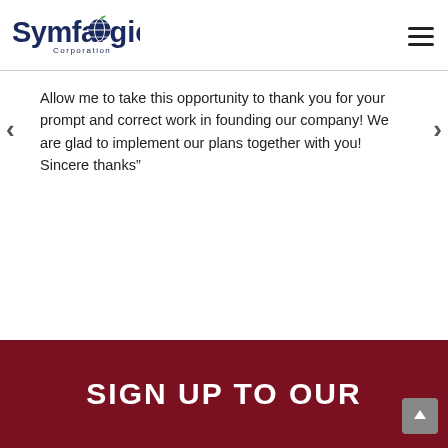Symfalogic Corporation
Allow me to take this opportunity to thank you for your prompt and correct work in founding our company! We are glad to implement our plans together with you! Sincere thanks”
SIGN UP TO OUR